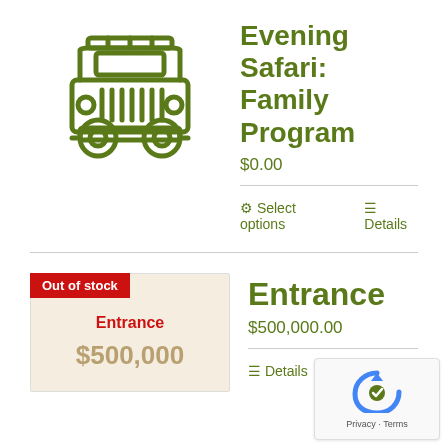[Figure (illustration): Green line-art icon of a safari jeep/vehicle viewed from the front]
Evening Safari: Family Program
$0.00
Select options  Details
[Figure (other): Product thumbnail card with 'Out of stock' red badge, showing 'Entrance' label in red and '$500,000' price on beige background]
Entrance
$500,000.00
Details